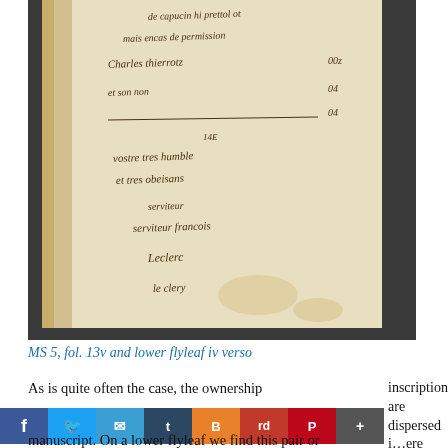[Figure (photo): Photograph of a manuscript page showing handwritten text in French, including names and phrases such as 'Charles Thierrotz', 'vostre tres humble et tres obeisans serviteur francois Leclerc le clerc'. The manuscript page is open, showing aged yellowed paper with brown ink cursive writing.]
MS 5, fol. 13v and lower flyleaf iv verso
As is quite often the case, the ownership inscriptions are dispersed here within the manuscript. On a lower flyleaf we find this pair or